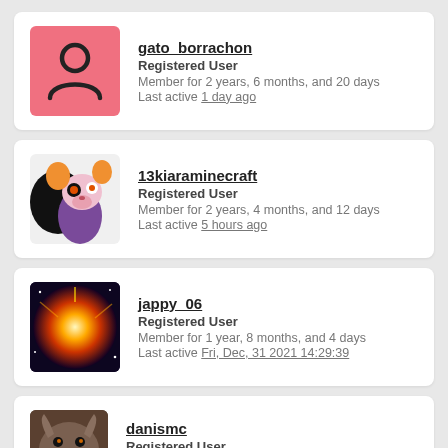gato_borrachon
Registered User
Member for 2 years, 6 months, and 20 days
Last active 1 day ago
13kiaraminecraft
Registered User
Member for 2 years, 4 months, and 12 days
Last active 5 hours ago
jappy_06
Registered User
Member for 1 year, 8 months, and 4 days
Last active Fri, Dec, 31 2021 14:29:39
danismc
Registered User
Member for 1 year, 7 months, and 4 days